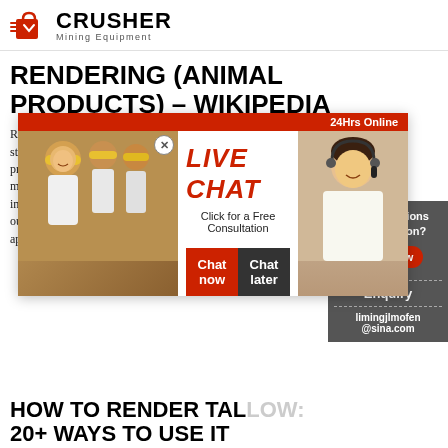CRUSHER Mining Equipment
RENDERING (ANIMAL PRODUCTS) – WIKIPEDIA
Rendering is a process that converts waste animal tissue into stable, usable materials. Rendering can refer to any processing of animal products, but in industrial usage it more narrowly refers to the processing of animal byproducts into purified oils and protein meals. Rendering can be carried out on an industrial or a farm basis. The term rendering applied to m...
[Figure (screenshot): Live Chat popup overlay with workers in hard hats on the left, LIVE CHAT text in red, Click for a Free Consultation subtitle, Chat now and Chat later buttons, and a customer service agent on the right.]
HOW TO RENDER TALLOW: 20+ WAYS TO USE IT
Nov 30, 2020 · When rendering tallow for our own use, we usually end up cooking down 7.7 lbs. (3.5 kg) at a time. All you need to get started for rendering tallow. Th... that you need for rendering tallow: grass-fed beef fat; large
[Figure (screenshot): Right sidebar panel with dark gray background: Need questions & suggestion? text, Chat Now red button, Enquiry text, and limingjlmofen@sina.com email address.]